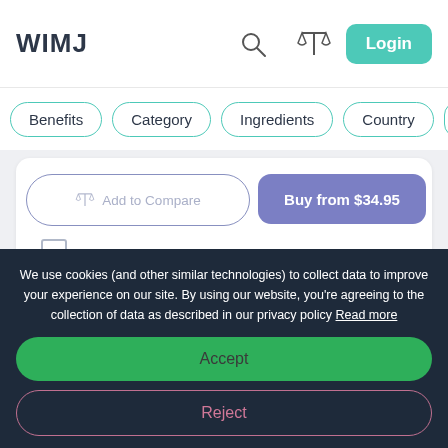WIMJ
Benefits
Category
Ingredients
Country
Add to Compare
Buy from $34.95
[Figure (illustration): Bookmark icon]
[Figure (photo): Product image thumbnail]
We use cookies (and other similar technologies) to collect data to improve your experience on our site. By using our website, you're agreeing to the collection of data as described in our privacy policy Read more
Accept
Reject